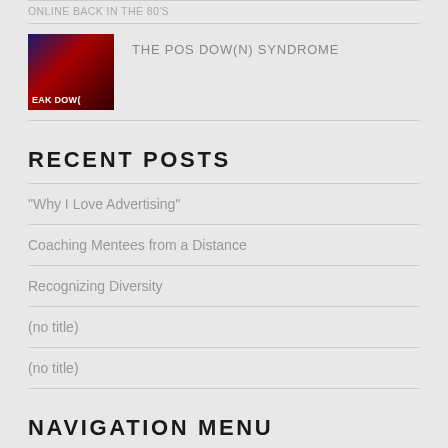ONLINE BACK IN THE 80'S
[Figure (photo): Thumbnail image showing a dark screen with text 'BREAK DOWN' overlaid, appears to be a TV or monitor display]
THE POS DOW(N) SYNDROME
RECENT POSTS
“Why I Love Advertising”
Coaching Mentees from a Distance
Recognizing Diversity
(no title)
(no title)
NAVIGATION MENU